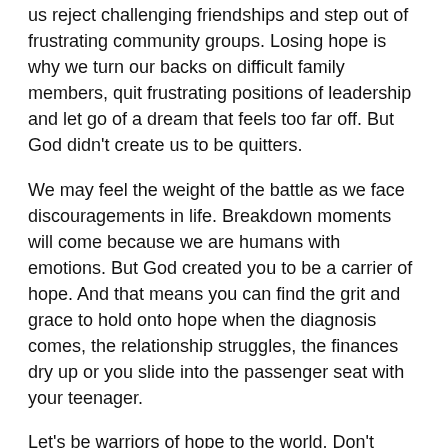us reject challenging friendships and step out of frustrating community groups. Losing hope is why we turn our backs on difficult family members, quit frustrating positions of leadership and let go of a dream that feels too far off. But God didn't create us to be quitters.
We may feel the weight of the battle as we face discouragements in life. Breakdown moments will come because we are humans with emotions. But God created you to be a carrier of hope. And that means you can find the grit and grace to hold onto hope when the diagnosis comes, the relationship struggles, the finances dry up or you slide into the passenger seat with your teenager.
Let's be warriors of hope to the world. Don't worry. It's already in you.